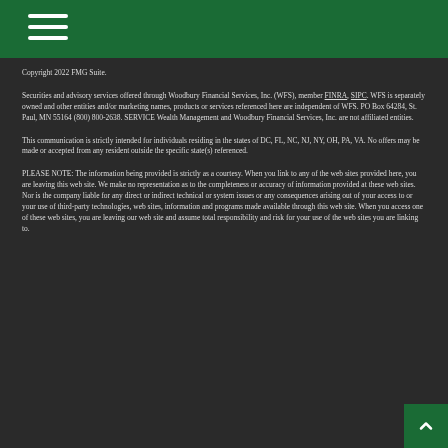Copyright 2022 FMG Suite.
Securities and advisory services offered through Woodbury Financial Services, Inc. (WFS), member FINRA, SIPC. WFS is separately owned and other entities and/or marketing names, products or services referenced here are independent of WFS. PO Box 64284, St. Paul, MN 55164 (800) 800-2638. SERVICE Wealth Management and Woodbury Financial Services, Inc. are not affiliated entities.
This communication is strictly intended for individuals residing in the states of DC, FL, NC, NJ, NY, OH, PA, VA. No offers may be made or accepted from any resident outside the specific state(s) referenced.
PLEASE NOTE: The information being provided is strictly as a courtesy. When you link to any of the web sites provided here, you are leaving this web site. We make no representation as to the completeness or accuracy of information provided at these web sites. Nor is the company liable for any direct or indirect technical or system issues or any consequences arising out of your access to or your use of third-party technologies, web sites, information and programs made available through this web site. When you access one of these web sites, you are leaving our web site and assume total responsibility and risk for your use of the web sites you are linking to.